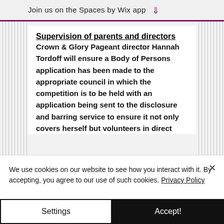Join us on the Spaces by Wix app
Supervision of parents and directors
Crown & Glory Pageant director Hannah Tordoff will ensure a Body of Persons application has been made to the appropriate council in which the competition is to be held with an application being sent to the disclosure and barring service to ensure it not only covers herself but volunteers in direct
We use cookies on our website to see how you interact with it. By accepting, you agree to our use of such cookies. Privacy Policy